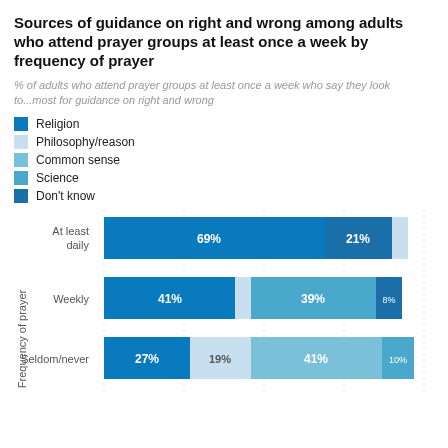Sources of guidance on right and wrong among adults who attend prayer groups at least once a week by frequency of prayer
% of adults who attend prayer groups at least once a week who say they look to...most for guidance on right and wrong
Religion
Philosophy/reason
Common sense
Science
Don't know
[Figure (stacked-bar-chart): Sources of guidance on right and wrong among adults who attend prayer groups at least once a week by frequency of prayer]